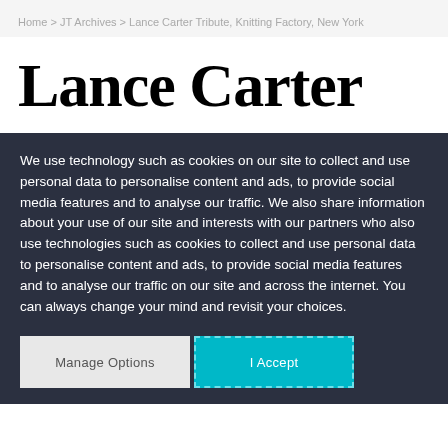Home > JT Archives > Lance Carter Tribute, Knitting Factory, New York
Lance Carter
We use technology such as cookies on our site to collect and use personal data to personalise content and ads, to provide social media features and to analyse our traffic. We also share information about your use of our site and interests with our partners who also use technologies such as cookies to collect and use personal data to personalise content and ads, to provide social media features and to analyse our traffic on our site and across the internet. You can always change your mind and revisit your choices.
Manage Options | I Accept